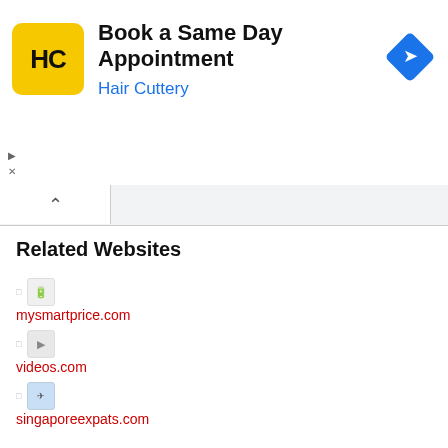[Figure (infographic): Hair Cuttery advertisement banner with yellow HC logo, text 'Book a Same Day Appointment' and 'Hair Cuttery', and a blue diamond navigation arrow icon]
Related Websites
mysmartprice.com
videos.com
singaporeexpats.com
tech-recipes.com
sgfitnessonline.com
streetdirectory.com